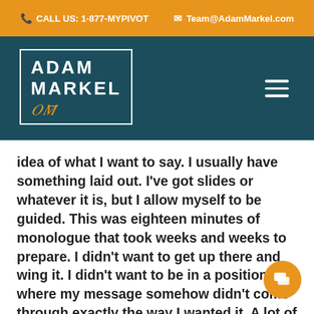CALL US: 1-877-MYPIVOT   Team@AdamMarkel.com
[Figure (logo): Adam Markel logo with teal background, white border box, bold white text 'ADAM MARKEL', orange cursive signature, and hamburger menu icon on the right]
idea of what I want to say. I usually have something laid out. I've got slides or whatever it is, but I allow myself to be guided. This was eighteen minutes of monologue that took weeks and weeks to prepare. I didn't want to get up there and wing it. I didn't want to be in a position where my message somehow didn't come through exactly the way I wanted it. A lot of folks, a lot of concentration. I assume that it has